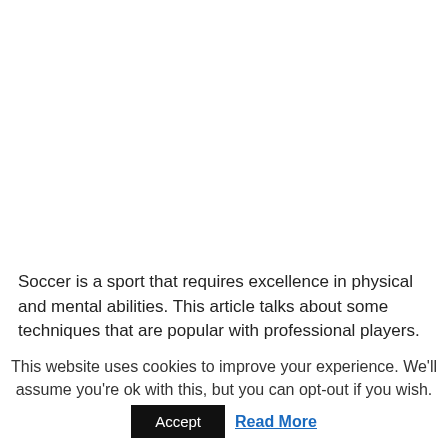Soccer is a sport that requires excellence in physical and mental abilities. This article talks about some techniques that are popular with professional players.
This website uses cookies to improve your experience. We'll assume you're ok with this, but you can opt-out if you wish.
Accept   Read More